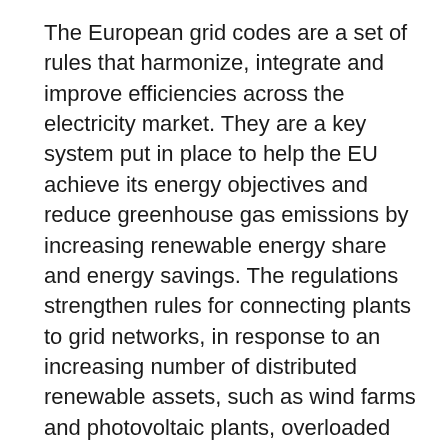The European grid codes are a set of rules that harmonize, integrate and improve efficiencies across the electricity market. They are a key system put in place to help the EU achieve its energy objectives and reduce greenhouse gas emissions by increasing renewable energy share and energy savings. The regulations strengthen rules for connecting plants to grid networks, in response to an increasing number of distributed renewable assets, such as wind farms and photovoltaic plants, overloaded grids and integrated E-mobility.
“ABB has ensured timely compliance with these new grid codes to provide broader benefits for our customers, helping minimize risk in connecting grid networks,” said Kevin Kosisko, Managing Director, Energy Industries.
“Even the most stable networks are introducing grid